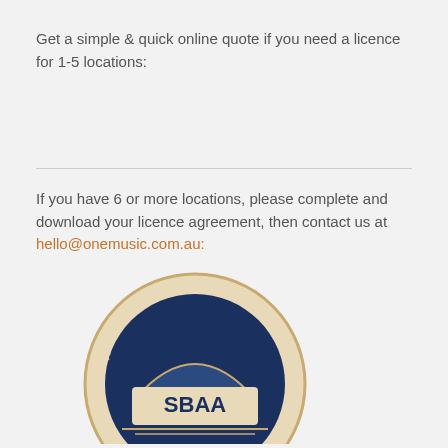Get a simple & quick online quote if you need a licence for 1-5 locations:
If you have 6 or more locations, please complete and download your licence agreement, then contact us at hello@onemusic.com.au:
[Figure (logo): SBAA - Small Business Association of Australia circular badge/seal in dark navy blue and beige/cream colors with 'SBAA' text in the center]